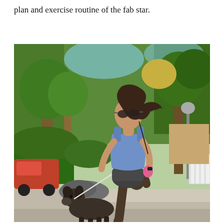exercises and diet regimes. Lets have a quick look at the diet plan and exercise routine of the fab star.
[Figure (photo): A woman in athletic wear (blue tank top, dark shorts, sunglasses) jogging outdoors on a sunny day while holding a leash attached to a dark-colored dog. Lush green trees and suburban neighborhood visible in the background.]